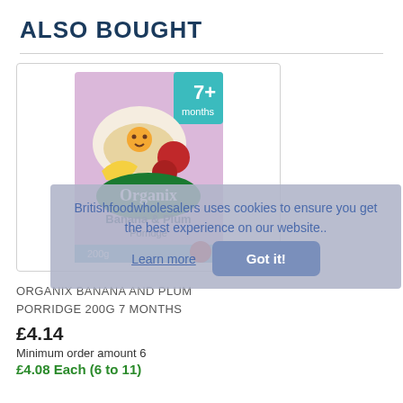ALSO BOUGHT
[Figure (photo): Organix Banana & Plum Porridge 200g 7+ months product box — purple/pink box with a bowl of porridge and fruits illustrated, green oval Organix logo.]
Britishfoodwholesalers uses cookies to ensure you get the best experience on our website..
Learn more
ORGANIX BANANA AND PLUM PORRIDGE 200G 7 MONTHS
£4.14
Got it!
Minimum order amount 6
£4.08 Each (6 to 11)